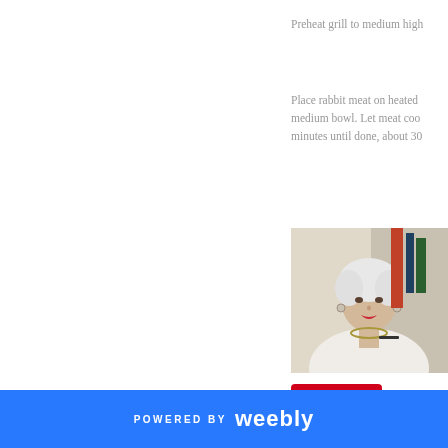Preheat grill to medium high
Place rabbit meat on heated medium bowl. Let meat coo minutes until done, about 30
[Figure (photo): A woman with short white hair wearing a white jacket and pearl necklace, holding glasses, seated at what appears to be a desk or office setting.]
Save
Tweet
0 Comments
POWERED BY weebly